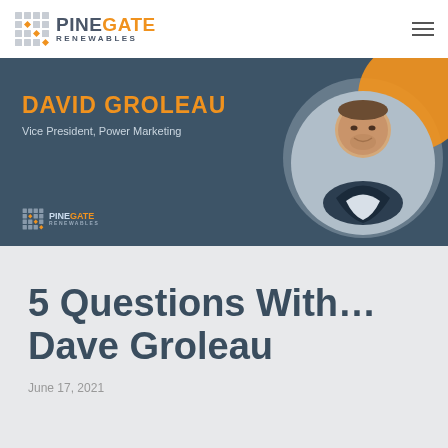PINEGATE RENEWABLES
[Figure (photo): PineGate Renewables employee profile banner featuring David Groleau, Vice President Power Marketing, with circular photo portrait on dark teal background with orange and grey decorative circles, and PineGate Renewables logo]
5 Questions With... Dave Groleau
June 17, 2021